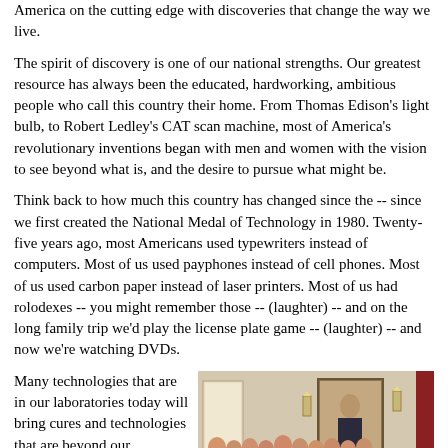America on the cutting edge with discoveries that change the way we live.
The spirit of discovery is one of our national strengths. Our greatest resource has always been the educated, hardworking, ambitious people who call this country their home. From Thomas Edison's light bulb, to Robert Ledley's CAT scan machine, most of America's revolutionary inventions began with men and women with the vision to see beyond what is, and the desire to pursue what might be.
Think back to how much this country has changed since the -- since we first created the National Medal of Technology in 1980. Twenty-five years ago, most Americans used typewriters instead of computers. Most of us used payphones instead of cell phones. Most of us used carbon paper instead of laser printers. Most of us had rolodexes -- you might remember those -- (laughter) -- and on the long family trip we'd play the license plate game -- (laughter) -- and now we're watching DVDs.
Many technologies that are in our laboratories today will bring cures and technologies that are beyond our imagination. And we will then wonder how we ever lived without them. These kinds of changes are the result of years of hard work by American innovators, like those we honor here today.
[Figure (photo): Group photo of National Medal of Technology laureates with President in a formal White House room, with a portrait painting visible on the wall behind them. Several men in suits wearing medals stand together.]
Over the years, National Science and Technology laureates have been responsible for breakthroughs that revolutionized telecommunications,